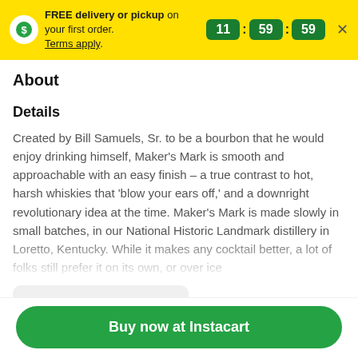FREE delivery or pickup on your first order. Terms apply. 11:59:59
About
Details
Created by Bill Samuels, Sr. to be a bourbon that he would enjoy drinking himself, Maker's Mark is smooth and approachable with an easy finish – a true contrast to hot, harsh whiskies that 'blow your ears off,' and a downright revolutionary idea at the time. Maker's Mark is made slowly in small batches, in our National Historic Landmark distillery in Loretto, Kentucky. While it makes any cocktail better, a lot of folks still prefer it on its own, or over ice
View more
Buy now at Instacart